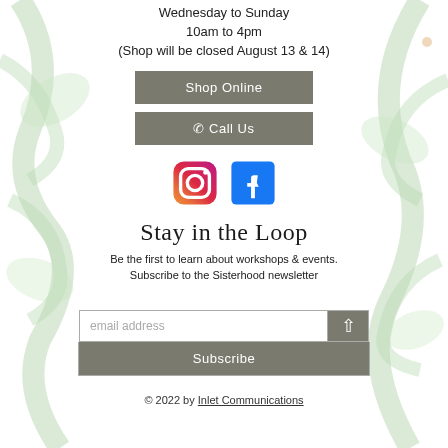Wednesday to Sunday
10am to 4pm
(Shop will be closed August 13 & 14)
Shop Online
📞 Call Us
[Figure (logo): Instagram and Facebook social media icons side by side]
Stay in the Loop
Be the first to learn about workshops & events. Subscribe to the Sisterhood newsletter
email address
Subscribe
© 2022 by Inlet Communications